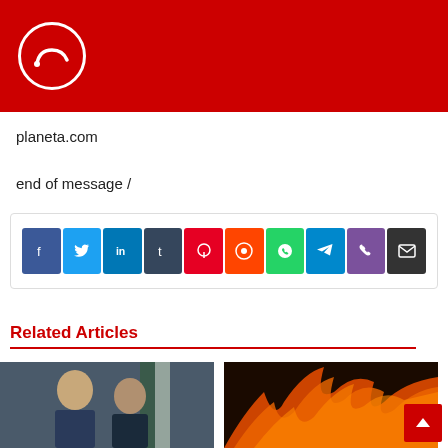planeta.com logo header
planeta.com
end of message /
[Figure (infographic): Social sharing buttons row: Facebook, Twitter, LinkedIn, Tumblr, Pinterest, Reddit, WhatsApp, Telegram, Phone, Email]
Related Articles
[Figure (photo): Two men in suits seated, Iranian flag in background]
[Figure (photo): Fire / flames image with orange and black tones]